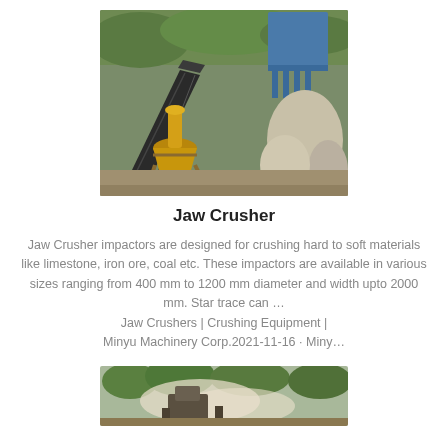[Figure (photo): Aerial view of a jaw crusher machine setup at a quarry/mining site with conveyor belt, blue industrial equipment, and rocky terrain in the background]
Jaw Crusher
Jaw Crusher impactors are designed for crushing hard to soft materials like limestone, iron ore, coal etc. These impactors are available in various sizes ranging from 400 mm to 1200 mm diameter and width upto 2000 mm. Star trace can … Jaw Crushers | Crushing Equipment | Minyu Machinery Corp.2021-11-16 · Miny…
[Figure (photo): Close-up view of a jaw crusher machine in operation at a site with dust and green trees in the background]